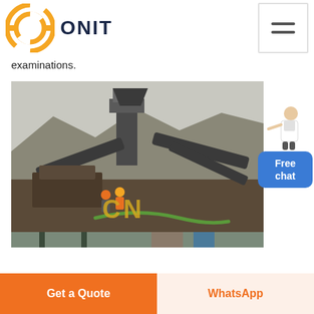ONIT
examinations.
[Figure (photo): Industrial mining or quarrying plant with conveyor belts, machinery, and workers. Yellow 'CN' watermark visible in lower center of image.]
Get a Quote | WhatsApp